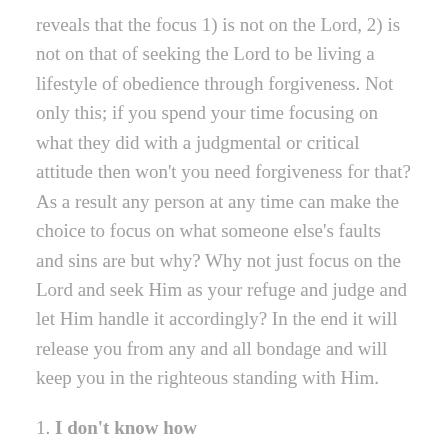reveals that the focus 1) is not on the Lord, 2) is not on that of seeking the Lord to be living a lifestyle of obedience through forgiveness. Not only this; if you spend your time focusing on what they did with a judgmental or critical attitude then won't you need forgiveness for that? As a result any person at any time can make the choice to focus on what someone else's faults and sins are but why? Why not just focus on the Lord and seek Him as your refuge and judge and let Him handle it accordingly? In the end it will release you from any and all bondage and will keep you in the righteous standing with Him.
1. I don't know how
Not knowing how to forgive may sound like a reasonable reason to not forgive; but not really. The reason is that there are numerous tools available and in reality; you do not need to look any further than God's Word; which provides answers to all of mankind's